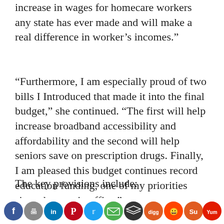increase in wages for homecare workers any state has ever made and will make a real difference in worker’s incomes.”
“Furthermore, I am especially proud of two bills I Introduced that made it into the final budget,” she continued. “The first will help increase broadband accessibility and affordability and the second will help seniors save on prescription drugs. Finally, I am pleased this budget continues record education funding, one of my priorities since day one in office.”
The key provisions include:
-A phased-in $3 an hour wage increase for
[Figure (other): Row of social media sharing icons: Facebook, Print, LinkedIn, Pinterest, Twitter, Email, Stack (layers), Digg, Reddit, StumbleUpon, Yummly]